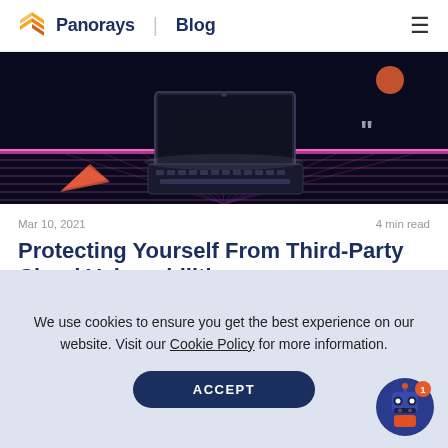Panorays | Blog
[Figure (illustration): Retro-futuristic neon dark banner with keyboard and computer monitor, pink grid lines, geometric shapes including a triangle and quotation mark, and an orange planet.]
Mar 10, 2021    4 min read
Protecting Yourself From Third-Party Cloud Vulnerabilities
In our January 2021 version release, Panorays
We use cookies to ensure you get the best experience on our website. Visit our Cookie Policy for more information.